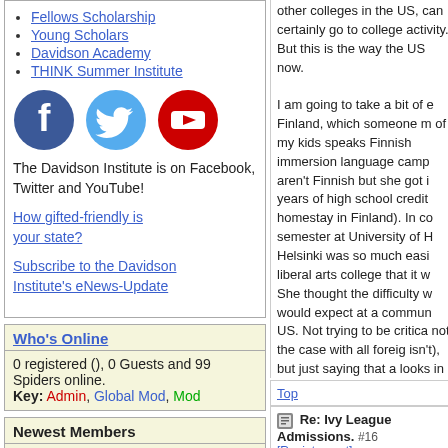Fellows Scholarship
Young Scholars
Davidson Academy
THINK Summer Institute
[Figure (illustration): Facebook (blue circle with white f), Twitter (light blue circle with white bird), YouTube (red circle with white play button) social media icons]
The Davidson Institute is on Facebook, Twitter and YouTube!
How gifted-friendly is your state?
Subscribe to the Davidson Institute's eNews-Update
Who's Online
0 registered (), 0 Guests and 99 Spiders online.
Key: Admin, Global Mod, Mod
Newest Members
rodeoneerer, JefreyJerome, kungfuchic, Larry Divis, Mvdnest
11200 Registered Users
other colleges in the US, can certainly go to college activity. But this is the way the US now.

I am going to take a bit of Finland, which someone m of my kids speaks Finnish immersion language camp aren't Finnish but she got i years of high school credit homestay in Finland). In c semester at University of H Helsinki was so much easi liberal arts college that it w She thought the difficulty w would expect at a commun US. Not trying to be critica not the case with all foreig isn't), but just saying that a looks in some other countr really greener when you ge This is not my PG kid, eith look at through that lens a any school to be easy.
Top
Re: Ivy League Admissions. #16
[Re: intparent]